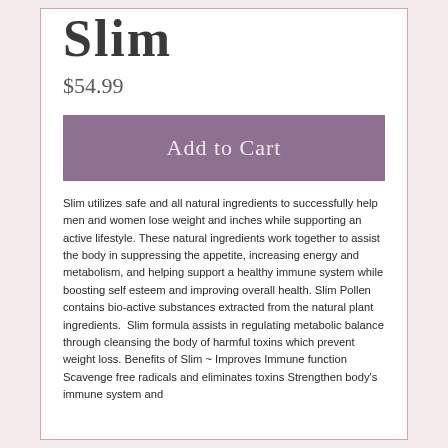Slim
$54.99
[Figure (other): Add to Cart button, mauve/purple background with light text]
Slim utilizes safe and all natural ingredients to successfully help men and women lose weight and inches while supporting an active lifestyle. These natural ingredients work together to assist the body in suppressing the appetite, increasing energy and metabolism, and helping support a healthy immune system while boosting self esteem and improving overall health. Slim Pollen contains bio-active substances extracted from the natural plant ingredients.  Slim formula assists in regulating metabolic balance through cleansing the body of harmful toxins which prevent weight loss. Benefits of Slim ~ Improves Immune function Scavenge free radicals and eliminates toxins Strengthen body's immune system and